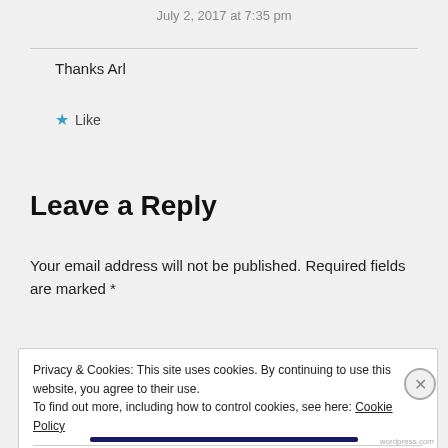July 2, 2017 at 7:35 pm
Thanks Arl
★ Like
Leave a Reply
Your email address will not be published. Required fields are marked *
Privacy & Cookies: This site uses cookies. By continuing to use this website, you agree to their use. To find out more, including how to control cookies, see here: Cookie Policy
Close and accept